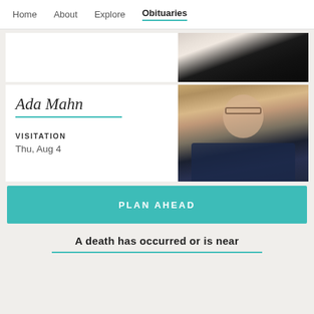Home  About  Explore  Obituaries
[Figure (photo): Partial photo of a person wearing a black top with white inner collar, shown from shoulders up, cropped]
Ada Mahn
VISITATION
Thu, Aug 4
[Figure (photo): Elderly person wearing glasses and a dark navy jacket, seated at a restaurant with a lattice wood background]
PLAN AHEAD
A death has occurred or is near